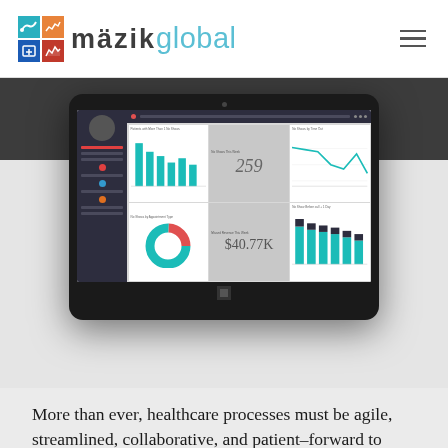[Figure (logo): MazikGlobal logo with colored grid icon and stylized text]
[Figure (screenshot): Dashboard screenshot on a tablet device showing bar charts, donut chart, KPI tiles (259, $40.77K), and line chart — MazikCare healthcare analytics dashboard]
More than ever, healthcare processes must be agile, streamlined, collaborative, and patient–forward to succeed. MazikCare is a set of